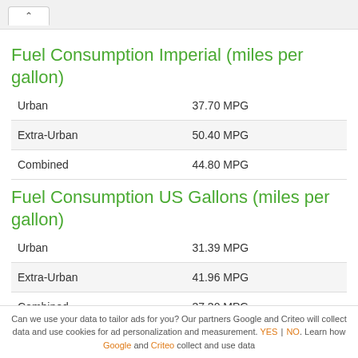Fuel Consumption Imperial (miles per gallon)
| Urban | 37.70 MPG |
| Extra-Urban | 50.40 MPG |
| Combined | 44.80 MPG |
Fuel Consumption US Gallons (miles per gallon)
| Urban | 31.39 MPG |
| Extra-Urban | 41.96 MPG |
| Combined | 37.30 MPG |
Can we use your data to tailor ads for you? Our partners Google and Criteo will collect data and use cookies for ad personalization and measurement. YES | NO. Learn how Google and Criteo collect and use data